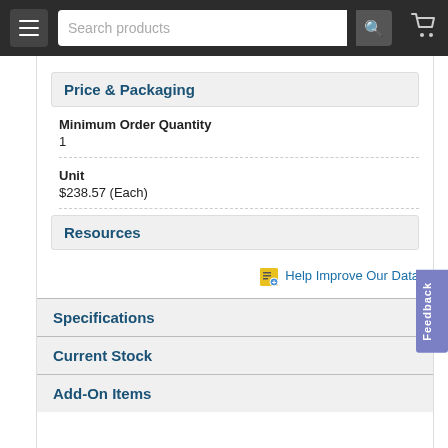Search products
Price & Packaging
Minimum Order Quantity
1
Unit
$238.57 (Each)
Resources
Help Improve Our Data
Specifications
Current Stock
Add-On Items